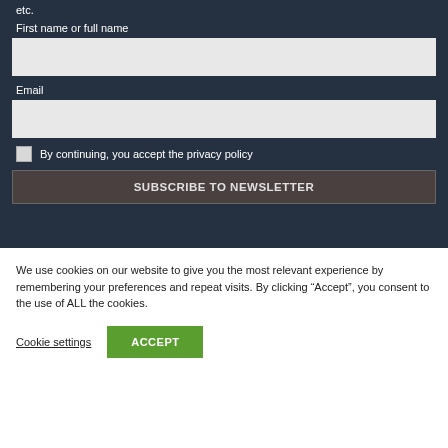etc.
First name or full name
Email
By continuing, you accept the privacy policy
SUBSCRIBE TO NEWSLETTER
We use cookies on our website to give you the most relevant experience by remembering your preferences and repeat visits. By clicking “Accept”, you consent to the use of ALL the cookies.
Cookie settings
ACCEPT